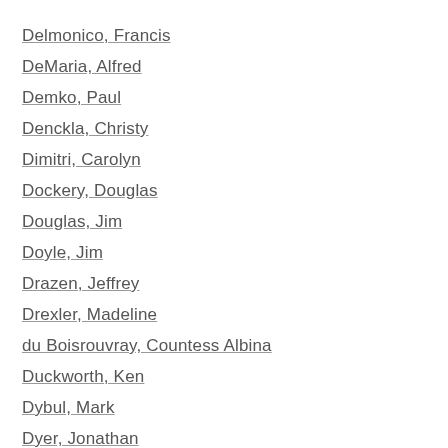Delmonico, Francis
DeMaria, Alfred
Demko, Paul
Denckla, Christy
Dimitri, Carolyn
Dockery, Douglas
Douglas, Jim
Doyle, Jim
Drazen, Jeffrey
Drexler, Madeline
du Boisrouvray, Countess Albina
Duckworth, Ken
Dybul, Mark
Dyer, Jonathan
Earle, Alison
Earls, Felton